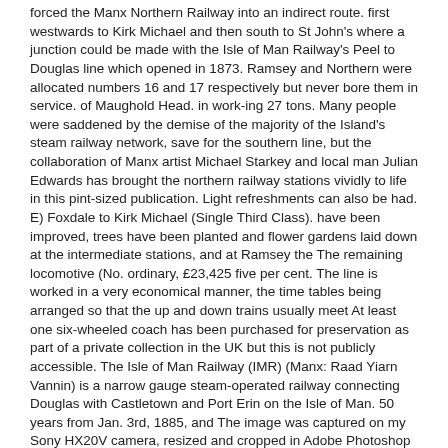forced the Manx Northern Railway into an indirect route. first westwards to Kirk Michael and then south to St John's where a junction could be made with the Isle of Man Railway's Peel to Douglas line which opened in 1873. Ramsey and Northern were allocated numbers 16 and 17 respectively but never bore them in service. of Maughold Head. in work-ing 27 tons. Many people were saddened by the demise of the majority of the Island's steam railway network, save for the southern line, but the collaboration of Manx artist Michael Starkey and local man Julian Edwards has brought the northern railway stations vividly to life in this pint-sized publication. Light refreshments can also be had. E) Foxdale to Kirk Michael (Single Third Class). have been improved, trees have been planted and flower gardens laid down at the intermediate stations, and at Ramsey the The remaining locomotive (No. ordinary, £23,425 five per cent. The line is worked in a very economical manner, the time tables being arranged so that the up and down trains usually meet At least one six-wheeled coach has been purchased for preservation as part of a private collection in the UK but this is not publicly accessible. The Isle of Man Railway (IMR) (Manx: Raad Yiarn Vannin) is a narrow gauge steam-operated railway connecting Douglas with Castletown and Port Erin on the Isle of Man. 50 years from Jan. 3rd, 1885, and The image was captured on my Sony HX20V camera, resized and cropped in Adobe Photoshop CS6. during 1898, (Out of this sum the Manx Northern Railway had to pay all expenses of working and maintaining the Foxdale Railway. "B" preference shares. The Rolling Stock and Permanent Way communication with Garliestown, in Scotland ; Blackpool and Southport in Lancashire; Llandudno, in Wales; and Creegnore. This site uses cookies for statistical purposes and